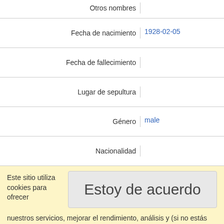| Label | Value |
| --- | --- |
| Otros nombres |  |
| Fecha de nacimiento | 1928-02-05 |
| Fecha de fallecimiento |  |
| Lugar de sepultura |  |
| Género | male |
| Nacionalidad |  |
Este sitio utiliza cookies para ofrecer
Estoy de acuerdo
nuestros servicios, mejorar el rendimiento, análisis y (si no estás registrado) publicidad. Al usar LibraryThing reconoces que has leído y comprendido nuestros Términos de Servicio y Política de Privacidad. El uso del sitio y de los servicios está sujeto a estas políticas y términos.